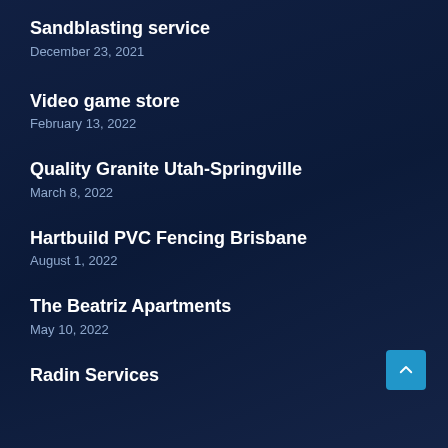Sandblasting service
December 23, 2021
Video game store
February 13, 2022
Quality Granite Utah-Springville
March 8, 2022
Hartbuild PVC Fencing Brisbane
August 1, 2022
The Beatriz Apartments
May 10, 2022
Radin Services